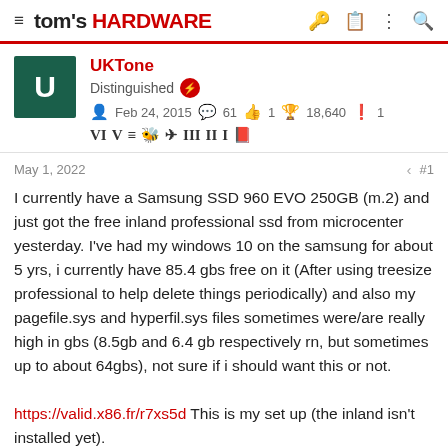tom's HARDWARE
UKTone
Distinguished
Feb 24, 2015  61  1  18,640  1
May 1, 2022  #1
I currently have a Samsung SSD 960 EVO 250GB (m.2) and just got the free inland professional ssd from microcenter yesterday. I've had my windows 10 on the samsung for about 5 yrs, i currently have 85.4 gbs free on it (After using treesize professional to help delete things periodically) and also my pagefile.sys and hyperfil.sys files sometimes were/are really high in gbs (8.5gb and 6.4 gb respectively rn, but sometimes up to about 64gbs), not sure if i should want this or not.

https://valid.x86.fr/r7xs5d This is my set up (the inland isn't installed yet).